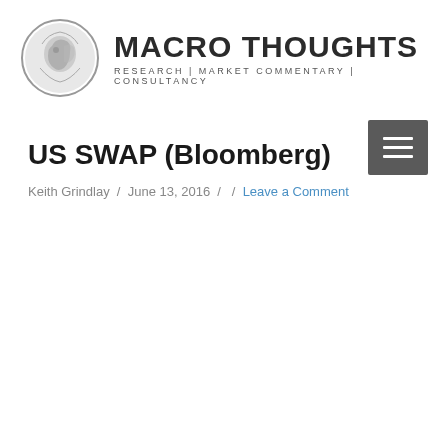[Figure (logo): Macro Thoughts logo with ancient coin image on left and large bold text MACRO THOUGHTS on right with subtitle RESEARCH | MARKET COMMENTARY | CONSULTANCY]
[Figure (other): Hamburger menu button - dark grey square with three white horizontal lines]
US SWAP (Bloomberg)
Keith Grindlay / June 13, 2016 / / Leave a Comment